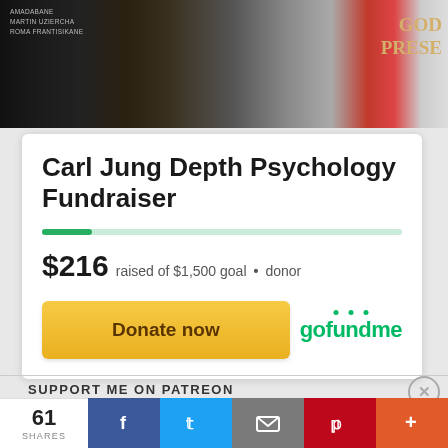[Figure (photo): Top photo showing dark books and objects including a book with 'GOD PRESE' visible on the spine]
Carl Jung Depth Psychology Fundraiser
$216 raised of $1,500 goal • donor
Donate now
[Figure (logo): GoFundMe logo in green]
SUPPORT ME ON PATREON
Advertisements
61 SHARES
[Figure (screenshot): Social share bar with Facebook, Twitter, Email, Pinterest and More buttons]